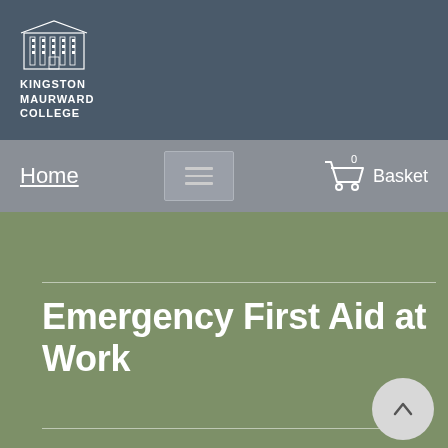[Figure (logo): Kingston Maurward College logo: a white illustrated building/mansion above the text KINGSTON MAURWARD COLLEGE in white capital letters]
Home
[Figure (other): Hamburger menu button icon with three horizontal lines]
[Figure (other): Shopping cart icon with basket count 0 and label Basket]
Emergency First Aid at Work